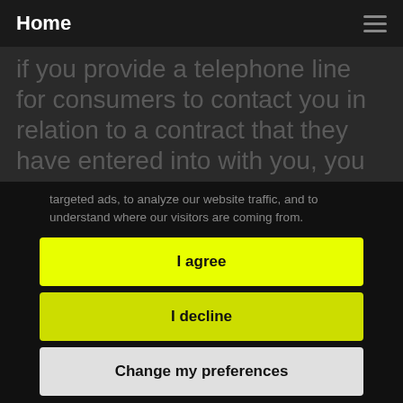Home
if you provide a telephone line for consumers to contact you in relation to a contract that they have entered into with you, you cannot charge more than a basic rate for this service. Therefore you can only charge normal geographic or mobile rates. A consumer should not pay more to contact you about their purchase than they would to phone a friend or
targeted ads, to analyze our website traffic, and to understand where our visitors are coming from.
I agree
I decline
Change my preferences